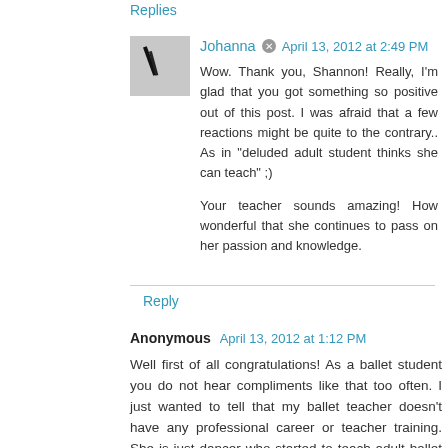Replies
Johanna  April 13, 2012 at 2:49 PM
Wow. Thank you, Shannon! Really, I'm glad that you got something so positive out of this post. I was afraid that a few reactions might be quite to the contrary.. As in "deluded adult student thinks she can teach" ;)

Your teacher sounds amazing! How wonderful that she continues to pass on her passion and knowledge.
Reply
Anonymous  April 13, 2012 at 1:12 PM
Well first of all congratulations! As a ballet student you do not hear compliments like that too often. I just wanted to tell that my ballet teacher doesn't have any professional career or teacher training. She is just dancer who started to teach adult ballet classes and I have never tought that she would